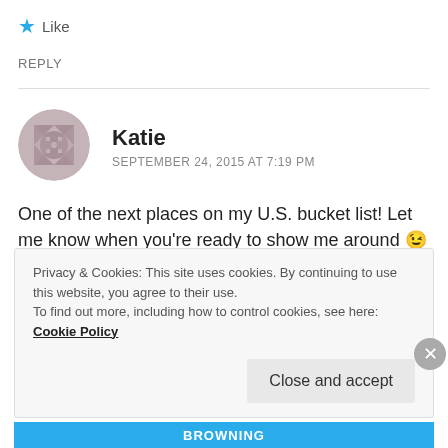★ Like
REPLY
Katie
SEPTEMBER 24, 2015 AT 7:19 PM
One of the next places on my U.S. bucket list! Let me know when you're ready to show me around 😉
Privacy & Cookies: This site uses cookies. By continuing to use this website, you agree to their use.
To find out more, including how to control cookies, see here: Cookie Policy
Close and accept